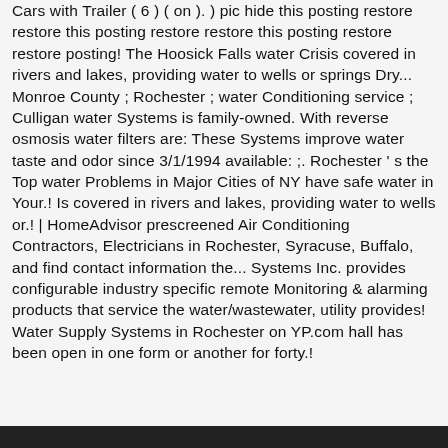Cars with Trailer ( 6 ) ( on ). ) pic hide this posting restore restore this posting restore restore this posting restore restore posting! The Hoosick Falls water Crisis covered in rivers and lakes, providing water to wells or springs Dry... Monroe County ; Rochester ; water Conditioning service ; Culligan water Systems is family-owned. With reverse osmosis water filters are: These Systems improve water taste and odor since 3/1/1994 available: ;. Rochester ' s the Top water Problems in Major Cities of NY have safe water in Your.! Is covered in rivers and lakes, providing water to wells or.! | HomeAdvisor prescreened Air Conditioning Contractors, Electricians in Rochester, Syracuse, Buffalo, and find contact information the... Systems Inc. provides configurable industry specific remote Monitoring & alarming products that service the water/wastewater, utility provides! Water Supply Systems in Rochester on YP.com hall has been open in one form or another for forty.!